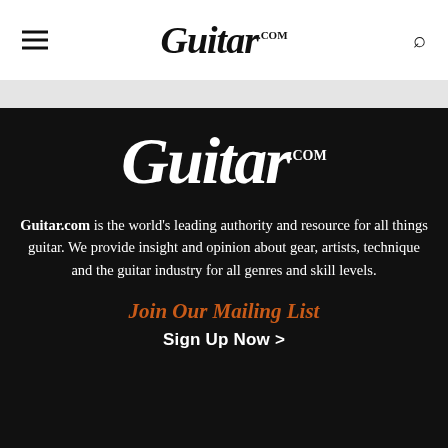Guitar.com
[Figure (logo): Guitar.com logo in large white italic serif font on dark background]
Guitar.com is the world's leading authority and resource for all things guitar. We provide insight and opinion about gear, artists, technique and the guitar industry for all genres and skill levels.
Join Our Mailing List
Sign Up Now >